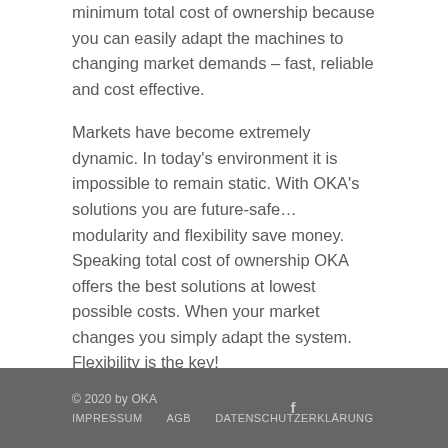minimum total cost of ownership because you can easily adapt the machines to changing market demands – fast, reliable and cost effective.
Markets have become extremely dynamic. In today's environment it is impossible to remain static. With OKA's solutions you are future-safe… modularity and flexibility save money. Speaking total cost of ownership OKA offers the best solutions at lowest possible costs. When your market changes you simply adapt the system. Flexibility is the key!
© 2020 by OKA  IMPRESSUM  AGB  DATENSCHUTZERKLÄRUNG